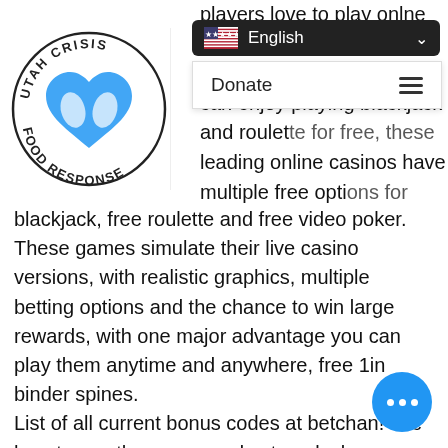[Figure (logo): Utah Crisis Food Response circular logo with hands and heart]
[Figure (screenshot): Language selector dropdown bar showing US flag and English text with chevron]
[Figure (screenshot): Navigation dropdown with Donate text and hamburger menu icon]
players love to play onlne roulette on their favorite casino table. Besides, you can enjoy playing blackjack and roulette for free, these leading online casinos have multiple free options for players to choose from, including free
blackjack, free roulette and free video poker. These games simulate their live casino versions, with realistic graphics, multiple betting options and the chance to win large rewards, with one major advantage you can play them anytime and anywhere, free 1in binder spines.
List of all current bonus codes at betchan! see how to use the promo codes to unlock awesome signup rewards. Info on regular promotions, such as free spins. Betchan offers a variety of online casino promotions to the players simply for playing the games in the casino. Play now and win free spins or real money! 17 мая 2021 г. — this casino accepts deposits and withdrawals in various crypto currencies, offers over 700 games,
[Figure (other): Blue circular floating action button with three white dots]